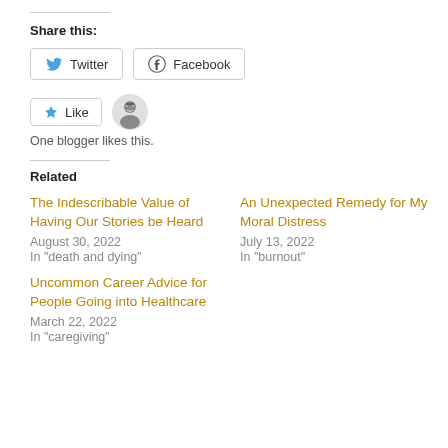Share this:
[Figure (screenshot): Twitter and Facebook share buttons]
[Figure (screenshot): Like button with star icon and blogger avatar]
One blogger likes this.
Related
The Indescribable Value of Having Our Stories be Heard
August 30, 2022
In "death and dying"
An Unexpected Remedy for My Moral Distress
July 13, 2022
In "burnout"
Uncommon Career Advice for People Going into Healthcare
March 22, 2022
In "caregiving"